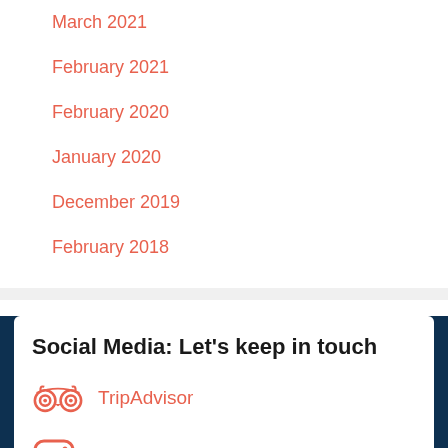March 2021
February 2021
February 2020
January 2020
December 2019
February 2018
Social Media: Let's keep in touch
TripAdvisor
Instagram